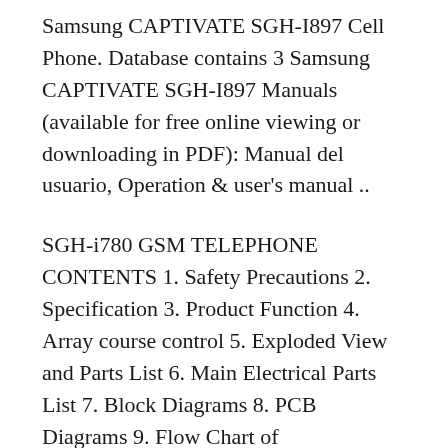Samsung CAPTIVATE SGH-I897 Cell Phone. Database contains 3 Samsung CAPTIVATE SGH-I897 Manuals (available for free online viewing or downloading in PDF): Manual del usuario, Operation & user's manual ..
SGH-i780 GSM TELEPHONE CONTENTS 1. Safety Precautions 2. Specification 3. Product Function 4. Array course control 5. Exploded View and Parts List 6. Main Electrical Parts List 7. Block Diagrams 8. PCB Diagrams 9. Flow Chart of Troubleshooting 10. Reference data 11. Disassembly and Assembly Instructions. This Service Manual is a property of Samsung Electronics Co.,Ltd. Any unauthorized use ... Manuals and user guide free PDF downloads for